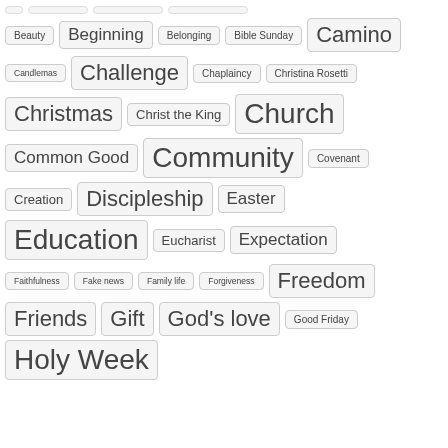Beauty
Beginning
Belonging
Bible Sunday
Camino
Candlemas
Challenge
Chaplaincy
Christina Rosetti
Christmas
Christ the King
Church
Common Good
Community
Covenant
Creation
Discipleship
Easter
Education
Eucharist
Expectation
Faithfulness
Fake news
Family life
Forgiveness
Freedom
Friends
Gift
God's love
Good Friday
Holy Week